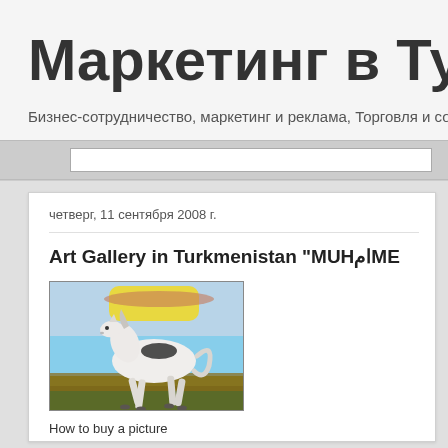Маркетинг в Туркмени...
Бизнес-сотрудничество, маркетинг и реклама, Торговля и создани...
четверг, 11 сентября 2008 г.
Art Gallery in Turkmenistan "MUHAMMED..."
[Figure (illustration): Painting of a white horse with a saddle trotting against a colorful background with yellow sky and green/brown ground]
How to buy a picture